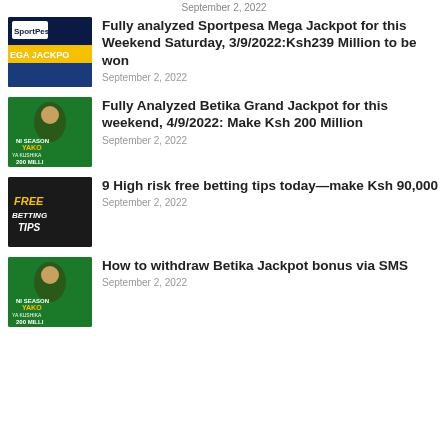September 2, 2022
[Figure (photo): SportPesa Mega Jackpot thumbnail - dark blue background with SportPesa logo and text MEGA JACKPOT]
Fully analyzed Sportpesa Mega Jackpot for this Weekend Saturday, 3/9/2022:Ksh239 Million to be won
September 2, 2022
[Figure (photo): Betika Grand Jackpot thumbnail - green background with footballer and text NI SEASON YAKO YA KUSHIKA 200 MILLI]
Fully Analyzed Betika Grand Jackpot for this weekend, 4/9/2022: Make Ksh 200 Million
September 2, 2022
[Figure (photo): Free Betting Tips thumbnail - black background with yellow and white text FREE BETTING TIPS]
9 High risk free betting tips today—make Ksh 90,000
September 2, 2022
[Figure (photo): Betika thumbnail - green background with footballer and text NI SEASON YAKO YA KUSHIKA 200 MILLI]
How to withdraw Betika Jackpot bonus via SMS
September 2, 2022